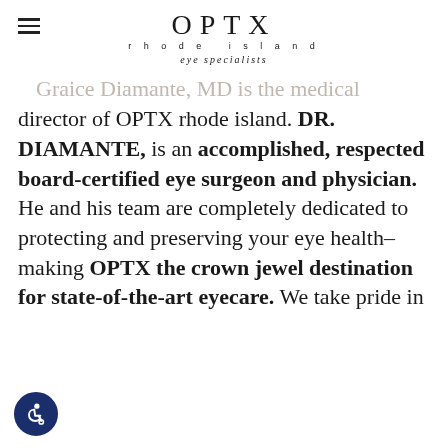OPTX rhode island eye specialists
Graice Diamante, MD is the medical director of OPTX rhode island. DR. DIAMANTE, is an accomplished, respected board-certified eye surgeon and physician. He and his team are completely dedicated to protecting and preserving your eye health–making OPTX the crown jewel destination for state-of-the-art eyecare. We take pride in